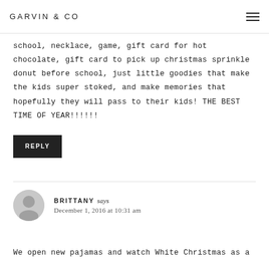GARVIN & CO
school, necklace, game, gift card for hot chocolate, gift card to pick up christmas sprinkle donut before school, just little goodies that make the kids super stoked, and make memories that hopefully they will pass to their kids! THE BEST TIME OF YEAR!!!!!!
REPLY
BRITTANY says
December 1, 2016 at 10:31 am
We open new pajamas and watch White Christmas as a